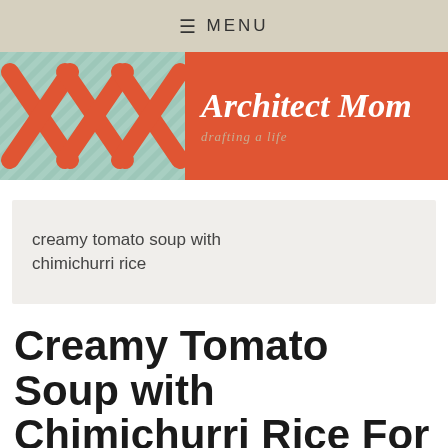≡ MENU
[Figure (logo): Architect Mom blog header with geometric X pattern on left in teal/orange and orange right panel with white italic text 'Architect Mom' and subtitle 'drafting a life']
creamy tomato soup with chimichurri rice
Creamy Tomato Soup with Chimichurri Rice For Elegant Parties and Mental Health Days